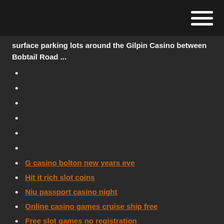surface parking lots around the Gilpin Casino between Bobtail Road ...
G casino bolton new years eve
Hit it rich slot coins
Niu passport casino night
Online casino games cruise ship free
Free slot games no registration
Seneca allegany casino promo code